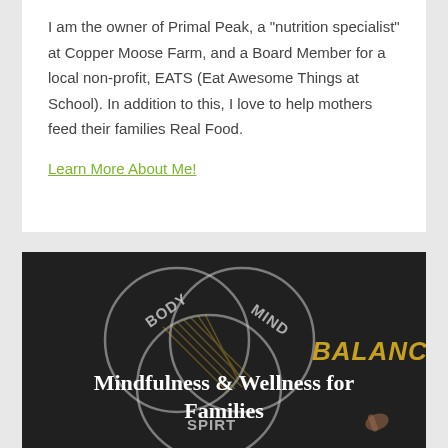I am the owner of Primal Peak, a "nutrition specialist" at Copper Moose Farm, and a Board Member for a local non-profit, EATS (Eat Awesome Things at School). In addition to this, I love to help mothers feed their families Real Food.
Learn More About Me!
[Figure (illustration): Chalkboard illustration with three overlapping circles labeled BODY, MIND, and SPIRIT in a Venn diagram style. The word BALANCE appears in gold/yellow text to the right. A hand appears to be writing on the board.]
Mindfulness & Wellness for Families